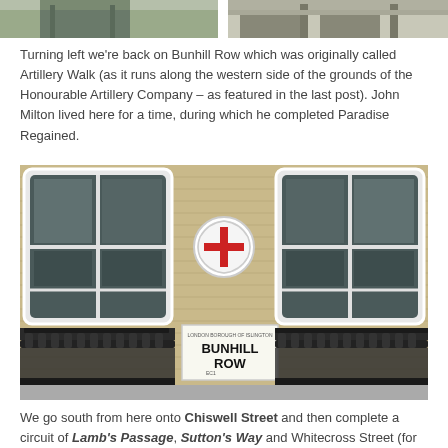[Figure (photo): Top portion of two photos cropped at the top of the page — building facades visible]
Turning left we're back on Bunhill Row which was originally called Artillery Walk (as it runs along the western side of the grounds of the Honourable Artillery Company – as featured in the last post). John Milton lived here for a time, during which he completed Paradise Regained.
[Figure (photo): Photograph of Bunhill Row street sign on a brick building facade, with two large sash windows with white frames and decorative iron balconies. A circular City of London plaque with a red cross is mounted between the windows. The white street sign reads 'BUNHILL ROW EC1'.]
We go south from here onto Chiswell Street and then complete a circuit of Lamb's Passage, Sutton's Way and Whitecross Street (for one final time).